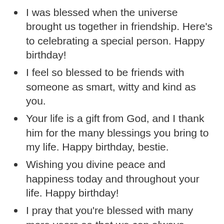I was blessed when the universe brought us together in friendship. Here’s to celebrating a special person. Happy birthday!
I feel so blessed to be friends with someone as smart, witty and kind as you.
Your life is a gift from God, and I thank him for the many blessings you bring to my life. Happy birthday, bestie.
Wishing you divine peace and happiness today and throughout your life. Happy birthday!
I pray that you’re blessed with many more years so that we can always celebrate together. I love you, BFF. Happy birthday!
May God give you peace on your special day and the year ahead. Happy birthday!
I wish you an abundance of blessings